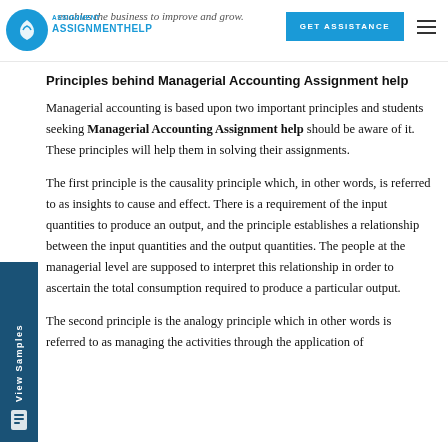enables the business to improve and grow.
Principles behind Managerial Accounting Assignment help
Managerial accounting is based upon two important principles and students seeking Managerial Accounting Assignment help should be aware of it. These principles will help them in solving their assignments.
The first principle is the causality principle which, in other words, is referred to as insights to cause and effect. There is a requirement of the input quantities to produce an output, and the principle establishes a relationship between the input quantities and the output quantities. The people at the managerial level are supposed to interpret this relationship in order to ascertain the total consumption required to produce a particular output.
The second principle is the analogy principle which in other words is referred to as managing the activities through the application of